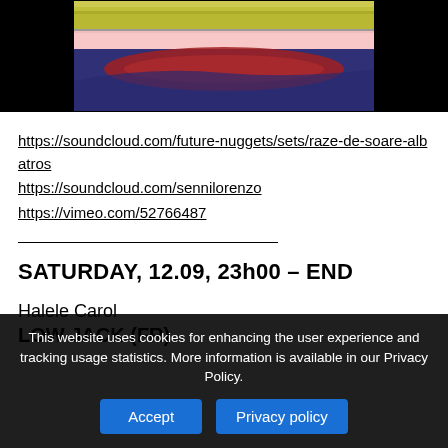[Figure (screenshot): Partial image showing colorful horizontal bands — a yellow-green textured stripe, a pink/light stripe, and a dark purple/blue area with red shape, on black background]
https://soundcloud.com/future-nuggets/sets/raze-de-soare-albatros
https://soundcloud.com/sennilorenzo
https://vimeo.com/52766487
________________________________
SATURDAY, 12.09, 23h00 – END
Halele Carol
Text cut off at bottom
This website uses cookies for enhancing the user experience and tracking usage statistics. More information is available in our Privacy Policy.